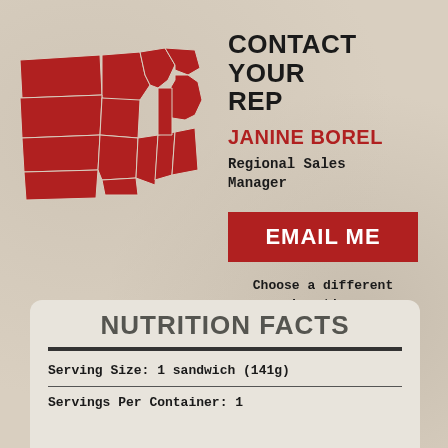[Figure (map): Red-filled map of the US Midwest/Great Lakes region states]
CONTACT YOUR REP
JANINE BOREL
Regional Sales Manager
EMAIL ME
Choose a different Location
NUTRITION FACTS
Serving Size: 1 sandwich (141g)
Servings Per Container: 1